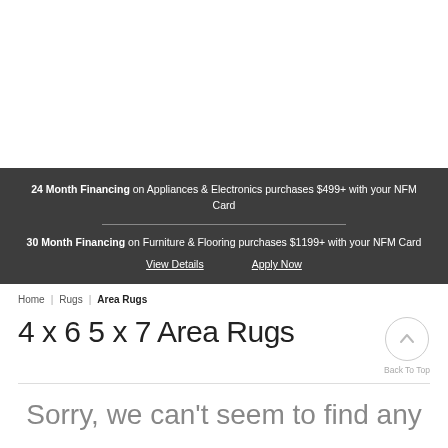24 Month Financing on Appliances & Electronics purchases $499+ with your NFM Card
30 Month Financing on Furniture & Flooring purchases $1199+ with your NFM Card
View Details    Apply Now
Home | Rugs | Area Rugs
4 x 6 5 x 7 Area Rugs
Back To Top
Sorry, we can't seem to find any